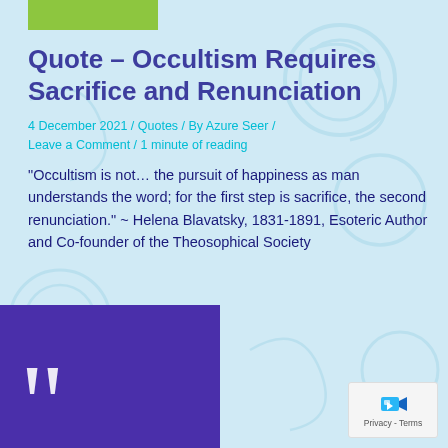Quote - Occultism Requires Sacrifice and Renunciation
4 December 2021 / Quotes / By Azure Seer / Leave a Comment / 1 minute of reading
“Occultism is not… the pursuit of happiness as man understands the word; for the first step is sacrifice, the second renunciation.” ~ Helena Blavatsky, 1831-1891, Esoteric Author and Co-founder of the Theosophical Society
[Figure (illustration): Purple/violet rectangle with large white stylized quotation marks at bottom]